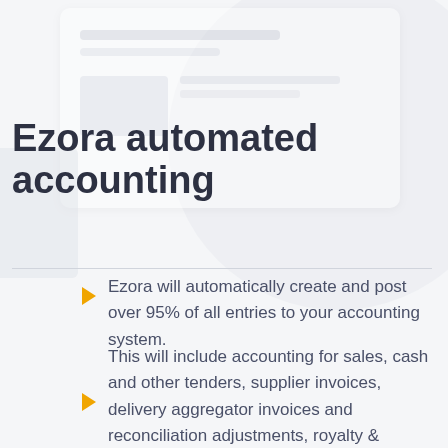Ezora automated accounting
Ezora will automatically create and post over 95% of all entries to your accounting system.
This will include accounting for sales, cash and other tenders, supplier invoices, delivery aggregator invoices and reconciliation adjustments, royalty & advertising accruals, employee payroll.